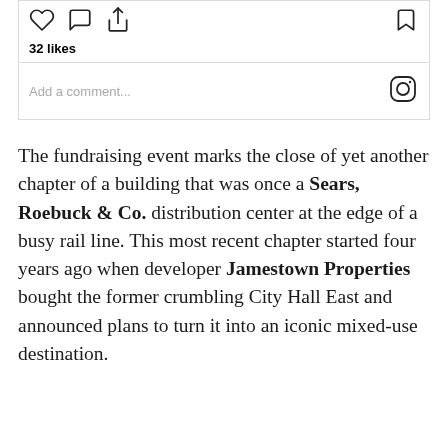[Figure (screenshot): Instagram UI partial screenshot showing action bar with heart, comment, share icons on left and bookmark icon on right, 32 likes count, divider, comment input field with Instagram camera logo icon on right]
The fundraising event marks the close of yet another chapter of a building that was once a Sears, Roebuck & Co. distribution center at the edge of a busy rail line. This most recent chapter started four years ago when developer Jamestown Properties bought the former crumbling City Hall East and announced plans to turn it into an iconic mixed-use destination.